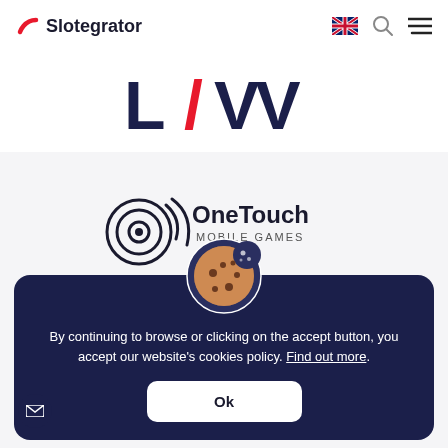Slotegrator
[Figure (logo): LIV logo in dark navy and pink/red]
[Figure (logo): OneTouch Mobile Games logo with circular target icon]
[Figure (infographic): Cookie consent banner with cookie icon, text, and Ok button]
By continuing to browse or clicking on the accept button, you accept our website's cookies policy. Find out more.